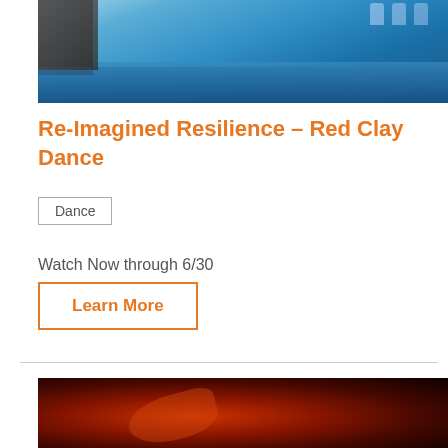[Figure (photo): A photo showing a blue-toned dance stage or performance space with performers visible at the top, and stacked equipment on the left side. The overall tone is a vibrant blue.]
Re-Imagined Resilience – Red Clay Dance
Dance
Watch Now through 6/30
Learn More
[Figure (photo): A dark, red-lit photograph showing what appears to be a performer or figure illuminated by red dramatic lighting against a very dark background.]